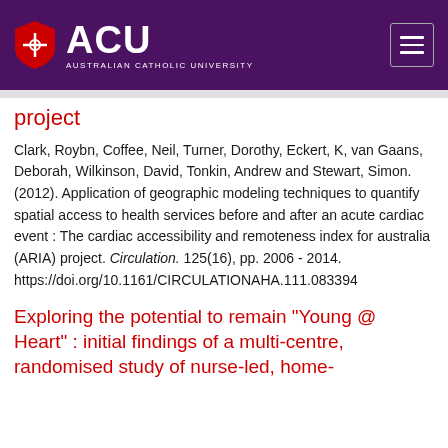[Figure (logo): ACU Australian Catholic University logo with shield on purple background header with hamburger menu button]
project
Clark, Roybn, Coffee, Neil, Turner, Dorothy, Eckert, K, van Gaans, Deborah, Wilkinson, David, Tonkin, Andrew and Stewart, Simon. (2012). Application of geographic modeling techniques to quantify spatial access to health services before and after an acute cardiac event : The cardiac accessibility and remoteness index for australia (ARIA) project. Circulation. 125(16), pp. 2006 - 2014. https://doi.org/10.1161/CIRCULATIONAHA.111.083394
Exploring the potential to remain "Young @ Heart" : initial findings of a multi-centre, randomised study of nurse-led, home-